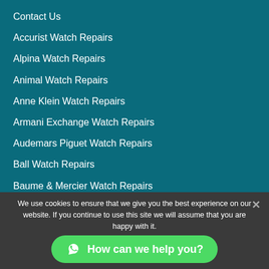Contact Us
Accurist Watch Repairs
Alpina Watch Repairs
Animal Watch Repairs
Anne Klein Watch Repairs
Armani Exchange Watch Repairs
Audemars Piguet Watch Repairs
Ball Watch Repairs
Baume & Mercier Watch Repairs
Bell & Ross Watch Repairs
We use cookies to ensure that we give you the best experience on our website. If you continue to use this site we will assume that you are happy with it.
How can we help you?